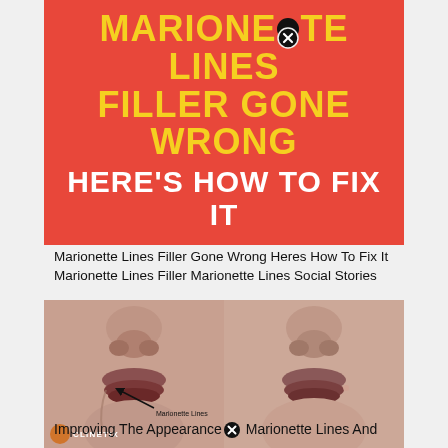[Figure (illustration): Red/orange banner with bold text: 'MARIONETTE LINES FILLER GONE WRONG HERE'S HOW TO FIX IT' in yellow and white uppercase letters on a coral-red background]
Marionette Lines Filler Gone Wrong Heres How To Fix It Marionette Lines Filler Marionette Lines Social Stories
[Figure (photo): Side-by-side before and after photos of a person's lower face showing marionette lines. Left image has an arrow pointing to 'Marionette Lines' label and a Clinetix logo.]
Improving The Appearance of Marionette Lines And